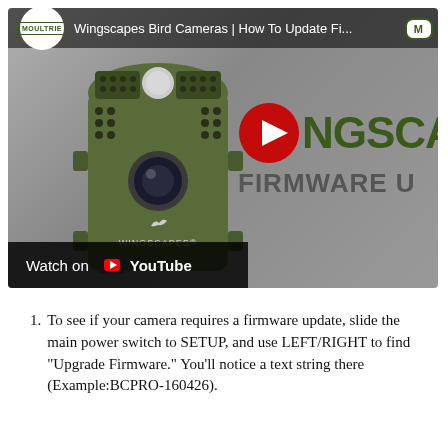[Figure (screenshot): YouTube video thumbnail showing a Wingscapes bird camera with title 'Wingscapes Bird Cameras | How To Update Fi...' and a 'Watch on YouTube' bar at the bottom. The thumbnail features a green trail camera on the left and 'WINGSCAPES FIRMWARE U...' text on the right with a YouTube play button overlay.]
To see if your camera requires a firmware update, slide the main power switch to SETUP, and use LEFT/RIGHT to find "Upgrade Firmware." You'll notice a text string there (Example:BCPRO-160426).